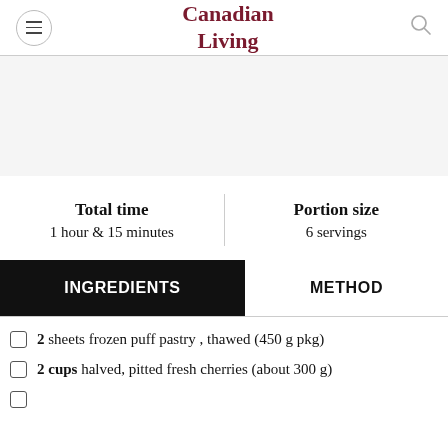Canadian Living
Total time
1 hour & 15 minutes
Portion size
6 servings
INGREDIENTS
METHOD
2  sheets frozen puff pastry , thawed (450 g pkg)
2 cups  halved, pitted fresh cherries (about 300 g)